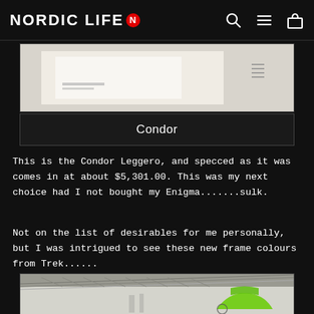NORDIC LIFE N
[Figure (photo): Partial view of a product brochure or display with white background and small text/graphics, shown in a dark-bordered box]
Condor
This is the Condor Leggero, and specced as it was comes in at about $5,301.00. This was my next choice had I not bought my Enigma.......sulk.
Not on the list of desirables for me personally, but I was intrigued to see these new frame colours from Trek......
[Figure (photo): Photo of a trade show or exhibition booth with metal truss framework and green bicycle frames hanging on display, white wall background]